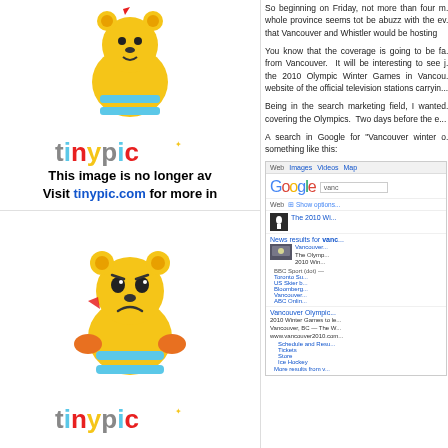[Figure (illustration): TinyPic placeholder image - top: cartoon bear mascot with 'tinypic' logo, text reads 'This image is no longer av... Visit tinypic.com for more in...']
So beginning on Friday, not more than four m... whole province seems tot be abuzz with the ev... that Vancouver and Whistler would be hosting
You know that the coverage is going to be fa... from Vancouver. It will be interesting to see j... the 2010 Olympic Winter Games in Vancou... website of the official television stations carryin...
Being in the search marketing field, I wanted... covering the Olympics. Two days before the e...
A search in Google for "Vancouver winter o... something like this:
[Figure (screenshot): Google search results screenshot showing results for 'vancouver winter o...' including The 2010 Winter Games result, news results for Vancouver, and Vancouver Olympic results with sublinks.]
[Figure (illustration): TinyPic placeholder image - bottom: sad cartoon bear mascot with 'tinypic' logo]